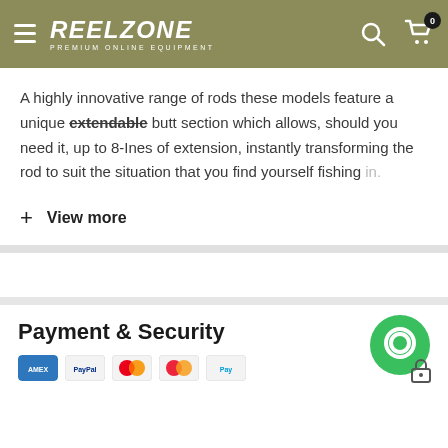REEL ZONE - PREMIUM ONLINE EQUIPMENT
A highly innovative range of rods these models feature a unique extendable butt section which allows, should you need it, up to 8-Ines of extension, instantly transforming the rod to suit the situation that you find yourself fishing in.
+ View more
Payment & Security